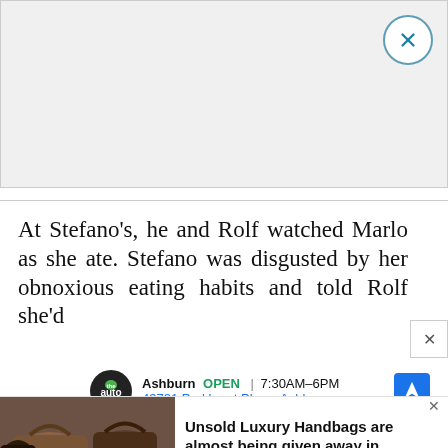[Figure (other): Gray placeholder rectangle for an advertisement at the top of the page]
At Stefano's, he and Rolf watched Marlo as she ate. Stefano was disgusted by her obnoxious eating habits and told Rolf she'd
[Figure (other): Ashburn auto business ad: OPEN 7:30AM-6PM, 43781 Parkhurst Plaza, Ashburn, with navigation icon]
[Figure (other): Bottom banner ad showing luxury handbags image with text: Unsold Luxury Handbags are almost being given away in... Luxury Handbags | Sponsored Links | Sponsored]